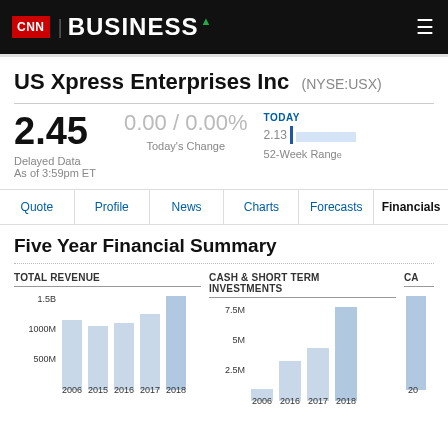CNN BUSINESS
US Xpress Enterprises Inc (NYSE:USX)
2.45
Delayed Data
As of 3:59pm ET
0.00 / 0.00%
Today's Change
TODAY
2.13
52-Week Range
Quote  Profile  News  Charts  Forecasts  Financials
Five Year Financial Summary
TOTAL REVENUE
[Figure (bar-chart): Total Revenue]
CASH & SHORT TERM INVESTMENTS
[Figure (bar-chart): Cash & Short Term Investments]